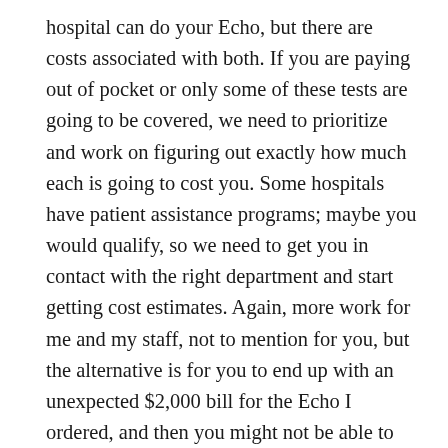hospital can do your Echo, but there are costs associated with both. If you are paying out of pocket or only some of these tests are going to be covered, we need to prioritize and work on figuring out exactly how much each is going to cost you. Some hospitals have patient assistance programs; maybe you would qualify, so we need to get you in contact with the right department and start getting cost estimates. Again, more work for me and my staff, not to mention for you, but the alternative is for you to end up with an unexpected $2,000 bill for the Echo I ordered, and then you might not be able to afford the ACE Inhibitors, Beta Blockers, and diuretics you are going to need to actually treat this condition. Which brings us to…